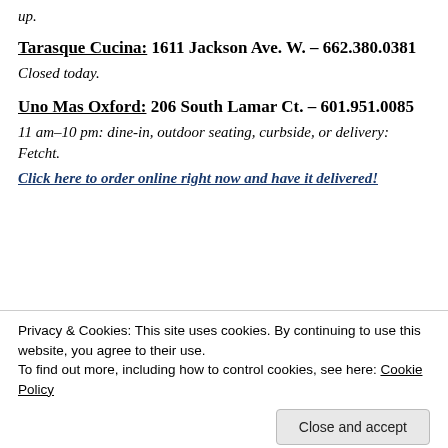up.
Tarasque Cucina: 1611 Jackson Ave. W. – 662.380.0381
Closed today.
Uno Mas Oxford: 206 South Lamar Ct. – 601.951.0085
11 am–10 pm: dine-in, outdoor seating, curbside, or delivery: Fetcht.
Click here to order online right now and have it delivered!
Uptown Coffee: ...
Privacy & Cookies: This site uses cookies. By continuing to use this website, you agree to their use.
To find out more, including how to control cookies, see here: Cookie Policy